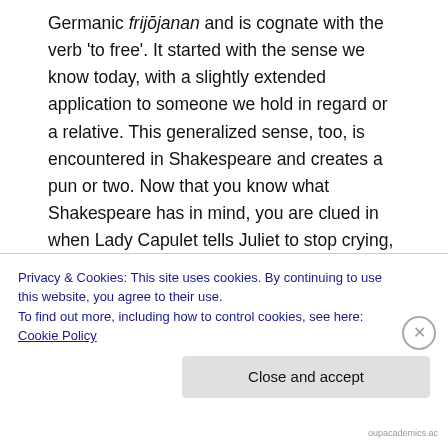Germanic frijōjanan and is cognate with the verb 'to free'. It started with the sense we know today, with a slightly extended application to someone we hold in regard or a relative. This generalized sense, too, is encountered in Shakespeare and creates a pun or two. Now that you know what Shakespeare has in mind, you are clued in when Lady Capulet tells Juliet to stop crying, 'So shall you feel the loss, but not the friend / Which you weep for', and Juliet replies that she is weeping for her beloved — not the relative, 'Feeling so the loss, I cannot choose but ever weep
Privacy & Cookies: This site uses cookies. By continuing to use this website, you agree to their use.
To find out more, including how to control cookies, see here: Cookie Policy
Close and accept